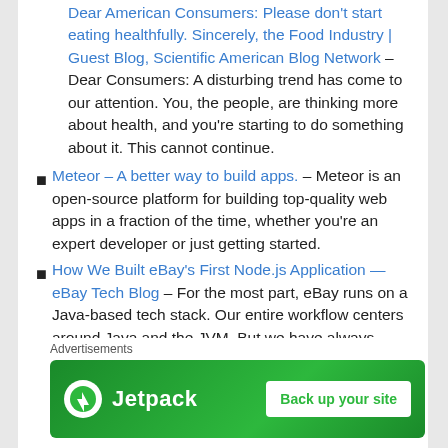Dear American Consumers: Please don't start eating healthfully. Sincerely, the Food Industry | Guest Blog, Scientific American Blog Network – Dear Consumers: A disturbing trend has come to our attention. You, the people, are thinking more about health, and you're starting to do something about it. This cannot continue.
Meteor – A better way to build apps. – Meteor is an open-source platform for building top-quality web apps in a fraction of the time, whether you're an expert developer or just getting started.
How We Built eBay's First Node.js Application — eBay Tech Blog – For the most part, eBay runs on a Java-based tech stack. Our entire workflow centers around Java and the JVM. But we have always been open to new technologies, and Node.js has been topping the list of candidates for quite some time. This post highlights a few aspects of how we
Advertisements
[Figure (other): Jetpack advertisement banner with green background showing Jetpack logo and 'Back up your site' button]